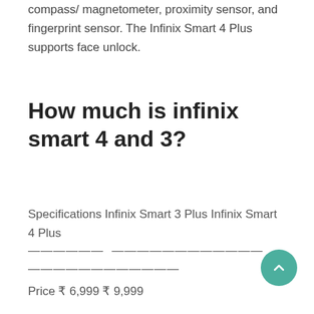compass/ magnetometer, proximity sensor, and fingerprint sensor. The Infinix Smart 4 Plus supports face unlock.
How much is infinix smart 4 and 3?
Specifications Infinix Smart 3 Plus Infinix Smart 4 Plus
—————  ——————————
—————————
Price ₹ 6,999 ₹ 9,999